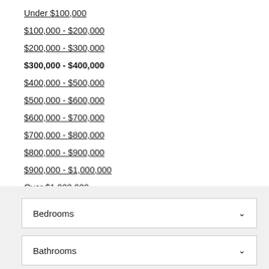Under $100,000
$100,000 - $200,000
$200,000 - $300,000
$300,000 - $400,000
$400,000 - $500,000
$500,000 - $600,000
$600,000 - $700,000
$700,000 - $800,000
$800,000 - $900,000
$900,000 - $1,000,000
Over $1,000,000
Bedrooms
Bathrooms